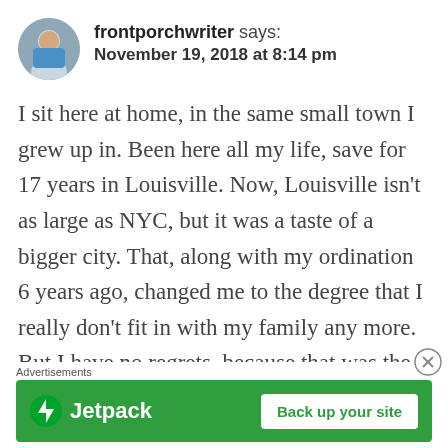[Figure (photo): Circular avatar photo of user frontporchwriter, showing a man in a blue shirt]
frontporchwriter says:
November 19, 2018 at 8:14 pm
I sit here at home, in the same small town I grew up in. Been here all my life, save for 17 years in Louisville. Now, Louisville isn't as large as NYC, but it was a taste of a bigger city. That, along with my ordination 6 years ago, changed me to the degree that I really don't fit in with my family any more. But I have no regrets, because that was the course God laid out
Advertisements
[Figure (logo): Jetpack advertisement banner with green background, Jetpack logo on the left and 'Back up your site' button on the right]